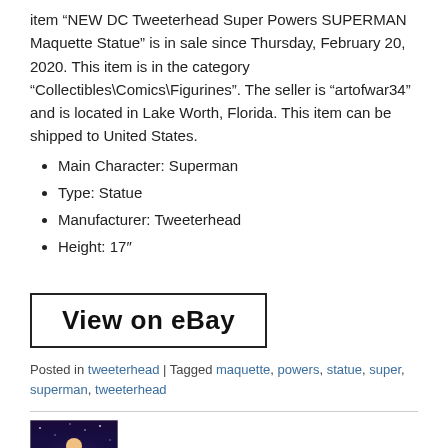item “NEW DC Tweeterhead Super Powers SUPERMAN Maquette Statue” is in sale since Thursday, February 20, 2020. This item is in the category “Collectibles\Comics\Figurines”. The seller is “artofwar34” and is located in Lake Worth, Florida. This item can be shipped to United States.
Main Character: Superman
Type: Statue
Manufacturer: Tweeterhead
Height: 17″
[Figure (other): View on eBay button — a rectangular bordered button with bold text reading 'View on eBay']
Posted in tweeterhead | Tagged maquette, powers, statue, super, superman, tweeterhead
[Figure (photo): Small thumbnail image showing a Superman-related collectible figure against a purple space background]